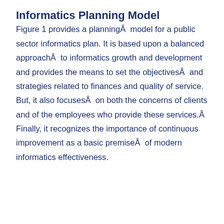Informatics Planning Model
Figure 1 provides a planningÂ  model for a public sector informatics plan. It is based upon a balanced approachÂ  to informatics growth and development and provides the means to set the objectivesÂ  and strategies related to finances and quality of service. But, it also focusesÂ  on both the concerns of clients and of the employees who provide these services.Â  Finally, it recognizes the importance of continuous improvement as a basic premiseÂ  of modern informatics effectiveness.